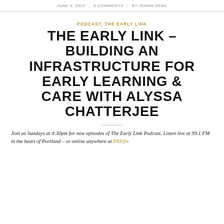JUNE 3, 2022 | 0 COMMENTS | BY JENNA DEML
PODCAST, THE EARLY LINK
THE EARLY LINK – BUILDING AN INFRASTRUCTURE FOR EARLY LEARNING & CARE WITH ALYSSA CHATTERJEE
Join us Sundays at 4:30pm for new episodes of The Early Link Podcast. Listen live at 99.1 FM in the heart of Portland – or online anywhere at PRP.fm